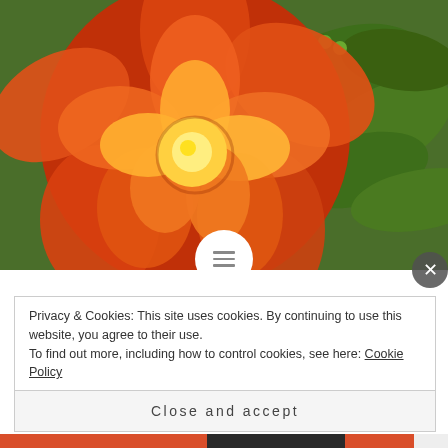[Figure (photo): Close-up photo of an orange rose with green leaves and small berries in the background.]
Links I Love 7.0
Another edition of my favorite links. Time to surf the web... I'm leading this off with a favorite new PRODUCT. NoOodle – Calorie Free Noodles that have an AWESOME
Privacy & Cookies: This site uses cookies. By continuing to use this website, you agree to their use.
To find out more, including how to control cookies, see here: Cookie Policy
Close and accept